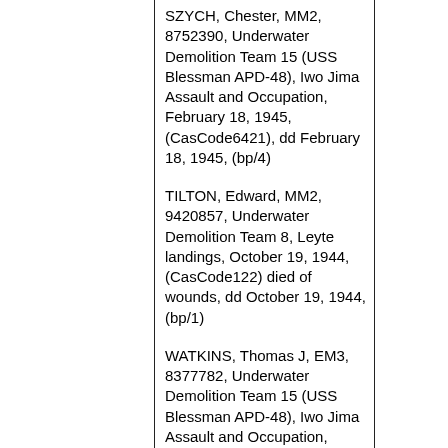SZYCH, Chester, MM2, 8752390, Underwater Demolition Team 15 (USS Blessman APD-48), Iwo Jima Assault and Occupation, February 18, 1945, (CasCode6421), dd February 18, 1945, (bp/4)
TILTON, Edward, MM2, 9420857, Underwater Demolition Team 8, Leyte landings, October 19, 1944, (CasCode122) died of wounds, dd October 19, 1944, (bp/1)
WATKINS, Thomas J, EM3, 8377782, Underwater Demolition Team 15 (USS Blessman APD-48), Iwo Jima Assault and Occupation, February 18, 1945, (Cascode121) killed in combat, dd February 18, 1945, (bp/4)
WILLBANKS, Herman D, F1, 8670286, Underwater Demolition Team 15 (USS